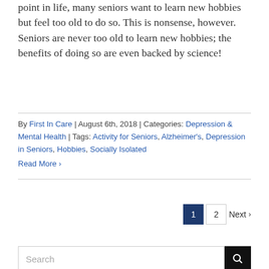point in life, many seniors want to learn new hobbies but feel too old to do so. This is nonsense, however. Seniors are never too old to learn new hobbies; the benefits of doing so are even backed by science!
By First In Care | August 6th, 2018 | Categories: Depression & Mental Health | Tags: Activity for Seniors, Alzheimer's, Depression in Seniors, Hobbies, Socially Isolated
Read More ›
1  2  Next ›
Search